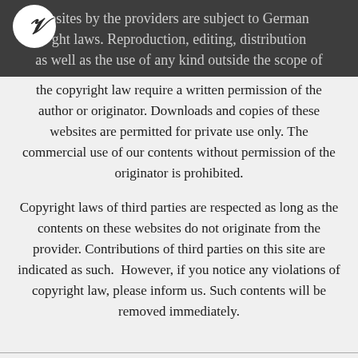bsites by the providers are subject to German ght laws. Reproduction, editing, distribution as well as the use of any kind outside the scope of
the copyright law require a written permission of the author or originator. Downloads and copies of these websites are permitted for private use only. The commercial use of our contents without permission of the originator is prohibited.
Copyright laws of third parties are respected as long as the contents on these websites do not originate from the provider. Contributions of third parties on this site are indicated as such. However, if you notice any violations of copyright law, please inform us. Such contents will be removed immediately.